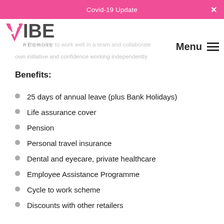Covid-19 Update
[Figure (logo): VIBE Recruit logo with pink V checkmark and grey IBE text, RECRUIT lettering below]
The ability to work well in a team and collaborate
own initiative and confidence working independently
Benefits:
25 days of annual leave (plus Bank Holidays)
Life assurance cover
Pension
Personal travel insurance
Dental and eyecare, private healthcare
Employee Assistance Programme
Cycle to work scheme
Discounts with other retailers